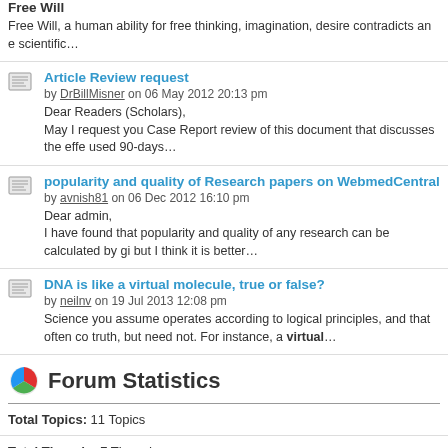Free Will
Free Will, a human ability for free thinking, imagination, desire contradicts an e scientific…
Article Review request
by DrBillMisner on 06 May 2012 20:13 pm
Dear Readers (Scholars),
May I request you Case Report review of this document that discusses the effe used 90-days…
popularity and quality of Research papers on WebmedCentral
by avnish81 on 06 Dec 2012 16:10 pm
Dear admin,
I have found that popularity and quality of any research can be calculated by gi but I think it is better…
DNA is like a virtual molecule, true or false?
by neilnv on 19 Jul 2013 12:08 pm
Science you assume operates according to logical principles, and that often co truth, but need not. For instance, a virtual…
Forum Statistics
Total Topics: 11 Topics
Total Threads: 7 Threads
Total Comments: 6 Comments